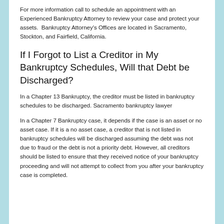For more information call to schedule an appointment with an Experienced Bankruptcy Attorney to review your case and protect your assets.  Bankruptcy Attorney's Offices are located in Sacramento, Stockton, and Fairfield, California.
If I Forgot to List a Creditor in My Bankruptcy Schedules, Will that Debt be Discharged?
In a Chapter 13 Bankruptcy, the creditor must be listed in bankruptcy schedules to be discharged. Sacramento bankruptcy lawyer
In a Chapter 7 Bankruptcy case, it depends if the case is an asset or no asset case. If it is a no asset case, a creditor that is not listed in bankruptcy schedules will be discharged assuming the debt was not due to fraud or the debt is not a priority debt. However, all creditors should be listed to ensure that they received notice of your bankruptcy proceeding and will not attempt to collect from you after your bankruptcy case is completed.